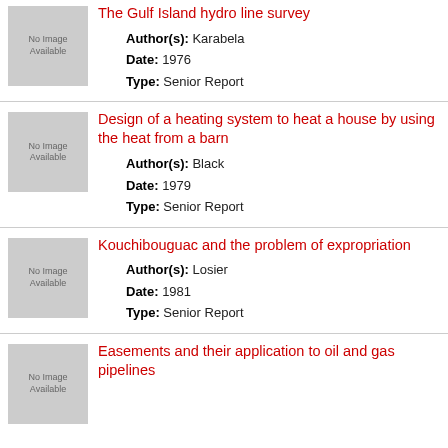[Figure (photo): No Image Available placeholder thumbnail]
The Gulf Island hydro line survey
Author(s): Karabela
Date: 1976
Type: Senior Report
[Figure (photo): No Image Available placeholder thumbnail]
Design of a heating system to heat a house by using the heat from a barn
Author(s): Black
Date: 1979
Type: Senior Report
[Figure (photo): No Image Available placeholder thumbnail]
Kouchibouguac and the problem of expropriation
Author(s): Losier
Date: 1981
Type: Senior Report
[Figure (photo): No Image Available placeholder thumbnail]
Easements and their application to oil and gas pipelines